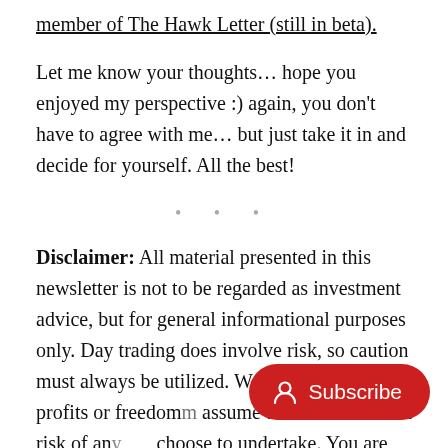member of The Hawk Letter (still in beta).
Let me know your thoughts… hope you enjoyed my perspective :) again, you don't have to agree with me… but just take it in and decide for yourself. All the best!
• • •
Disclaimer: All material presented in this newsletter is not to be regarded as investment advice, but for general informational purposes only. Day trading does involve risk, so caution must always be utilized. We cannot guarantee profits or freedom… assume the entire cost and risk of any… choose to undertake. You are solely responsible for